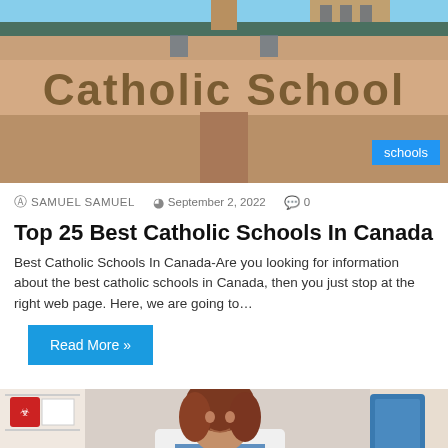[Figure (photo): Photo of a Catholic School building exterior with large text reading 'Catholic School' on the facade, blue sky visible above. A blue badge reading 'schools' overlays bottom right.]
SAMUEL SAMUEL  September 2, 2022  0
Top 25 Best Catholic Schools In Canada
Best Catholic Schools In Canada-Are you looking for information about the best catholic schools in Canada, then you just stop at the right web page. Here, we are going to…
Read More »
[Figure (photo): Photo of a woman in a white lab coat with curly brown hair, leaning over and examining or treating a patient in a medical or clinical setting.]